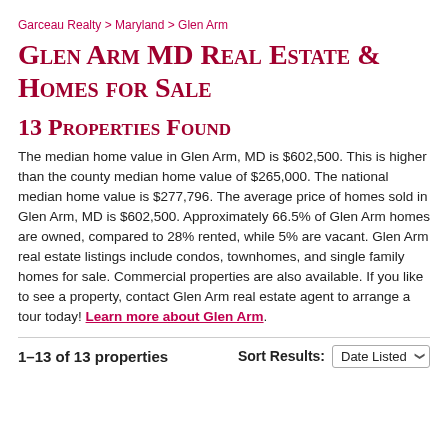Garceau Realty > Maryland > Glen Arm
Glen Arm MD Real Estate & Homes for Sale
13 Properties Found
The median home value in Glen Arm, MD is $602,500. This is higher than the county median home value of $265,000. The national median home value is $277,796. The average price of homes sold in Glen Arm, MD is $602,500. Approximately 66.5% of Glen Arm homes are owned, compared to 28% rented, while 5% are vacant. Glen Arm real estate listings include condos, townhomes, and single family homes for sale. Commercial properties are also available. If you like to see a property, contact Glen Arm real estate agent to arrange a tour today! Learn more about Glen Arm.
1–13 of 13 properties
Sort Results: Date Listed